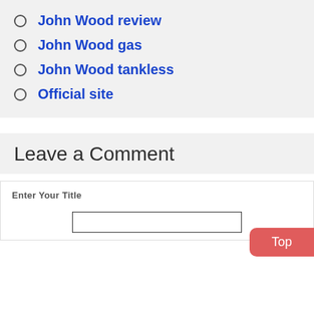John Wood review
John Wood gas
John Wood tankless
Official site
Leave a Comment
Enter Your Title